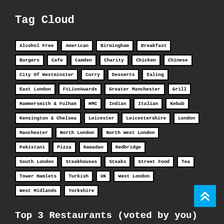Tag Cloud
Alcohol Free
American
Birmingham
Breakfast
Burgers
Cafe
Camden
Charity
Chicken
Chinese
City Of Westminster
Curry
Desserts
Ealing
East London
FtLionAwards
Greater Manchester
Grill
Hammersmith & Fulham
HMC
Indian
Italian
Kebab
Kensington & Chelsea
Leicester
Leicestershire
London
Manchester
North London
North West London
Pakistani
Pizza
Ramadan
Redbridge
South London
Steakhouses
Steaks
Street Food
Tea
Tower Hamlets
Turkish
UK
West London
West Midlands
Yorkshire
Top 3 Restaurants (voted by you)